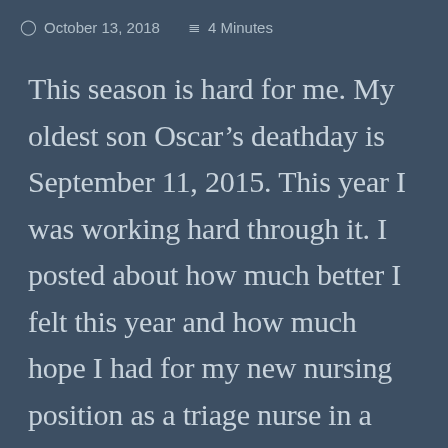October 13, 2018   4 Minutes
This season is hard for me. My oldest son Oscar’s deathday is September 11, 2015. This year I was working hard through it. I posted about how much better I felt this year and how much hope I had for my new nursing position as a triage nurse in a primary care clinic. And I made it